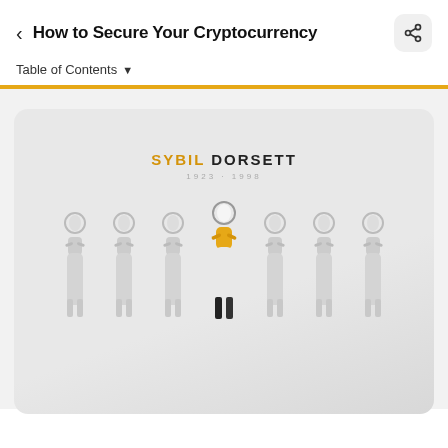How to Secure Your Cryptocurrency
Table of Contents
[Figure (illustration): Illustration showing seven similar female figures in a row. The central figure is highlighted in yellow/gold clothing while the others are drawn in gray. Text above reads 'SYBIL DORSETT' with dates '1923 - 1998' below.]